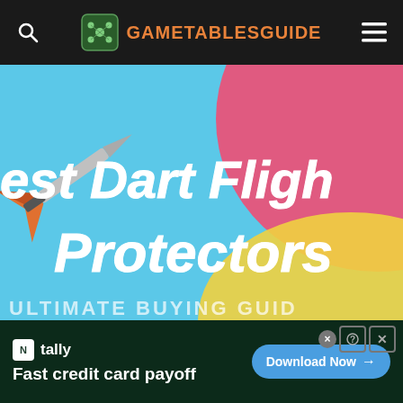GAMETABLESGUIDE
[Figure (photo): Hero image showing darts with colorful target/bullseye background (blue, pink/red, yellow). Large white bold text reads 'Best Dart Flight Protectors' with partial text 'ULTIMATE BUYING GUIDE' at bottom.]
[Figure (infographic): Advertisement banner for Tally app — 'Fast credit card payoff' with a 'Download Now' button on dark green background.]